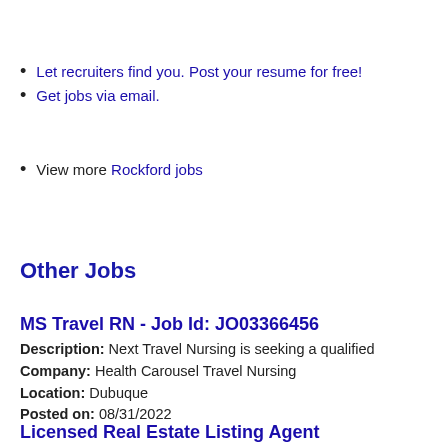Let recruiters find you. Post your resume for free!
Get jobs via email.
View more Rockford jobs
Other Jobs
MS Travel RN - Job Id: JO03366456
Description: Next Travel Nursing is seeking a qualified
Company: Health Carousel Travel Nursing
Location: Dubuque
Posted on: 08/31/2022
Licensed Real Estate Listing Agent